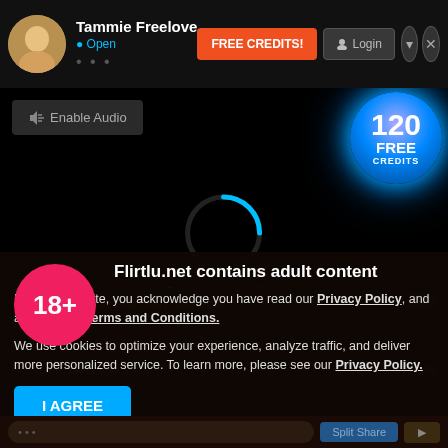Tammie Freelove • Open
FREE CREDITS!
Login
Enable Audio
[Figure (infographic): 120 FREE CREDITS glowing blue circular badge]
[Figure (infographic): Circular loading spinner, partially cyan arc on dark background, with text 'Connecting to Video' below]
Connecting to Video
18+
Flirtlu.net contains adult content
By using the site, you acknowledge you have read our Privacy Policy, and agree to our Terms and Conditions.
We use cookies to optimize your experience, analyze traffic, and deliver more personalized service. To learn more, please see our Privacy Policy.
I AGREE